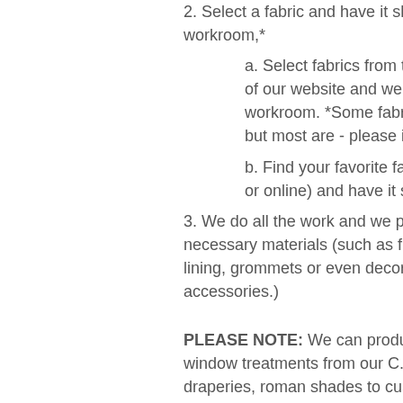2. Select a fabric and have it shipped to our workroom,*
a. Select fabrics from the Fabrics by the of our website and we have it shipped to our workroom. *Some fabrics on our website may but most are - please inquire!
b. Find your favorite fabric anywhere (in or online) and have it shipped to our COM wo
3. We do all the work and we provide any add necessary materials (such as framing materia lining, grommets or even decorative trim, bea accessories.)
PLEASE NOTE: We can produce almost any window treatments from our C.O.M Program draperies, roman shades to custom top treatm If you can't find a design on our website- ema of the design and we will email you back a qu